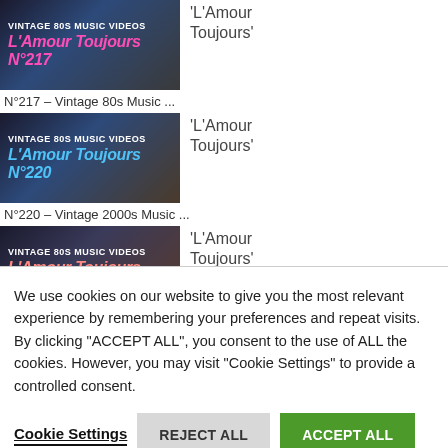[Figure (screenshot): Thumbnail for L'Amour Toujours N°217 - Vintage 80s Music video, with pink italic title text on dark background]
'L'Amour Toujours'
N°217 – Vintage 80s Music ...
[Figure (screenshot): Thumbnail for L'Amour Toujours N°220 - Vintage 2000s Music video, with blue italic title text on dark background]
'L'Amour Toujours'
N°220 – Vintage 2000s Music ...
[Figure (screenshot): Thumbnail for L'Amour Toujours N°415 - Vintage 80s Music video, with salmon/pink italic title text on dark background]
'L'Amour Toujours'
We use cookies on our website to give you the most relevant experience by remembering your preferences and repeat visits. By clicking "ACCEPT ALL", you consent to the use of ALL the cookies. However, you may visit "Cookie Settings" to provide a controlled consent.
Cookie Settings
REJECT ALL
ACCEPT ALL